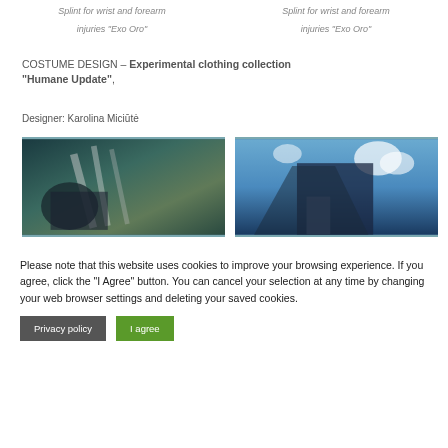Splint for wrist and forearm injuries “Exo Oro”
Splint for wrist and forearm injuries “Exo Oro”
COSTUME DESIGN – Experimental clothing collection “Humane Update”,
Designer: Karolina Miciūtė
[Figure (photo): Fashion photo showing a person in dark costume against architectural background]
[Figure (photo): Fashion photo showing a woman in dark outfit with cape against blue sky]
Please note that this website uses cookies to improve your browsing experience. If you agree, click the "I Agree" button. You can cancel your selection at any time by changing your web browser settings and deleting your saved cookies.
Privacy policy
I agree